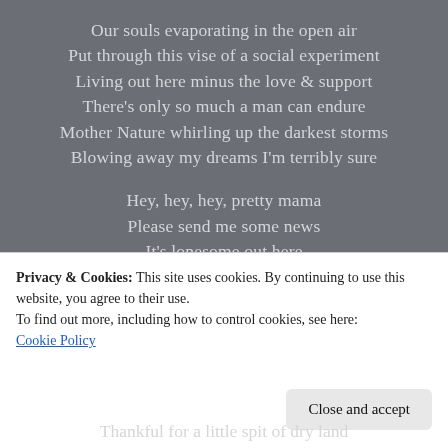Our souls evaporating in the open air
Put through this vise of a social experiment
Living out here minus the love & support
There's only so much a man can endure
Mother Nature whirling up the darkest storms
Blowing away my dreams I'm terribly sure

Hey, hey, hey, pretty mama
Please send me some news
It's lonesome out here
I've got the middle of the ocean blues
Privacy & Cookies: This site uses cookies. By continuing to use this website, you agree to their use.
To find out more, including how to control cookies, see here: Cookie Policy
Thankful for a little spit of dry land